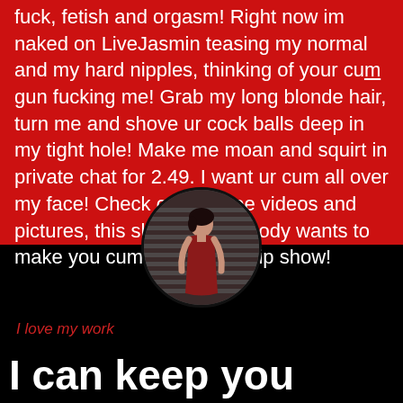fuck, fetish and orgasm! Right now im naked on LiveJasmin teasing my normal and my hard nipples, thinking of your cum gun fucking me! Grab my long blonde hair, turn me and shove ur cock balls deep in my tight hole! Make me moan and squirt in private chat for 2.49. I want ur cum all over my face! Check out my free videos and pictures, this skinny horny body wants to make you cum in sex chat vip show!
[Figure (photo): Circular portrait photo of a woman in a red dress standing in front of metal shutters]
I love my work
I can keep you